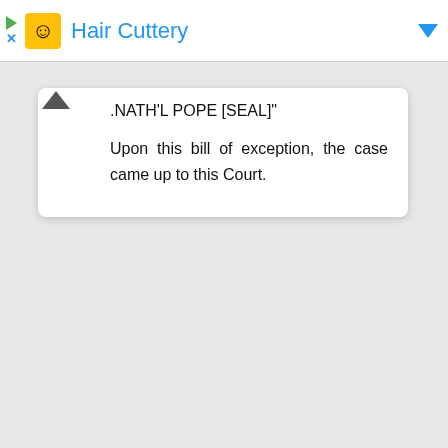Hair Cuttery
.NATH'L POPE [SEAL]"
Upon this bill of exception, the case came up to this Court.